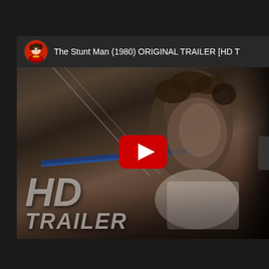[Figure (screenshot): YouTube video thumbnail for 'The Stunt Man (1980) ORIGINAL TRAILER [HD T...' showing a YouTube embedded video player. The thumbnail shows a darkened film still of a man with wind-blown hair, with 'HD TRAILER' text in large italic gray letters in the lower left. A red YouTube play button is centered on the thumbnail. Above the thumbnail is the video title bar with a channel icon (illustrated female figure) and the title text.]